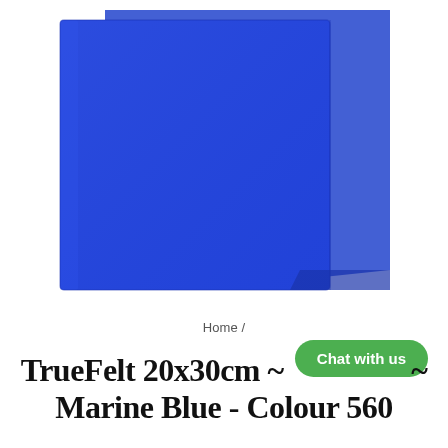[Figure (photo): Two overlapping sheets of marine blue felt fabric on a white background]
Home /
Chat with us
TrueFelt 20x30cm ~ ~ Marine Blue - Colour 560